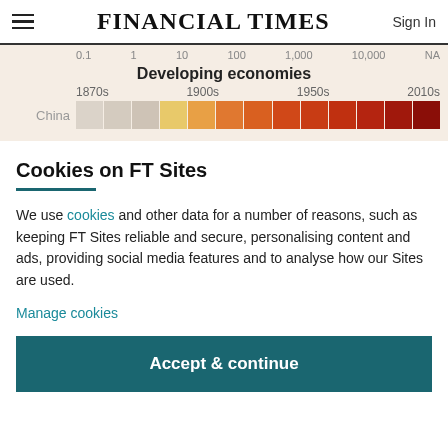FINANCIAL TIMES | Sign In
[Figure (infographic): Developing economies heat map showing China's GDP levels from 1870s to 2010s on a log scale from 0.1 to NA, with color-coded cells ranging from light/grey (1870s) through yellow-orange to dark red (2010s)]
Cookies on FT Sites
We use cookies and other data for a number of reasons, such as keeping FT Sites reliable and secure, personalising content and ads, providing social media features and to analyse how our Sites are used.
Manage cookies
Accept & continue